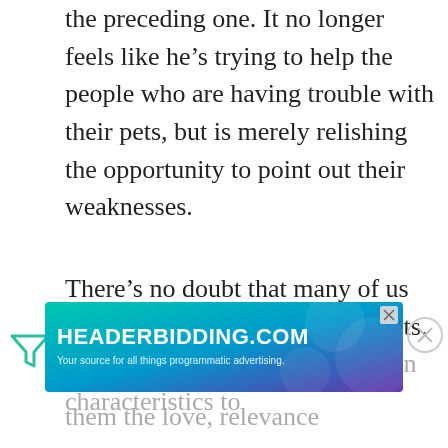the preceding one. It no longer feels like he's trying to help the people who are having trouble with their pets, but is merely relishing the opportunity to point out their weaknesses.
There's no doubt that many of us in North America pamper our pets. Infantilizing and ascribing human characteristics to
[Figure (other): HEADERBIDDING.COM advertisement banner with teal/purple gradient background. Text: 'HEADERBIDDING.COM - Your source for all things programmatic advertising.' with a close/X button.]
them the love, relevance